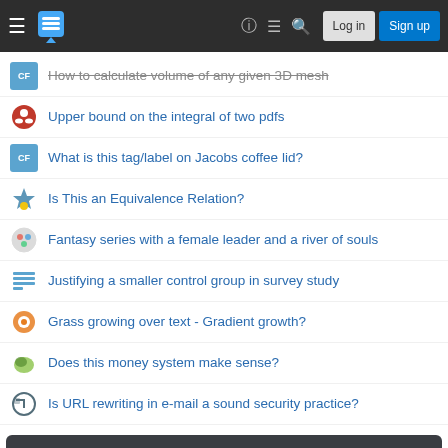Stack Exchange navigation bar with Log in and Sign up buttons
How to calculate volume of any given 3D mesh
Upper bound on the integral of two pdfs
What is this tag/label on Jacobs coffee lid?
Is This an Equivalence Relation?
Fantasy series with a female leader and a river of souls
Justifying a smaller control group in survey study
Grass growing over text - Gradient growth?
Does this money system make sense?
Is URL rewriting in e-mail a sound security practice?
Your privacy
By clicking "Accept all cookies", you agree Stack Exchange can store cookies on your device and disclose information in accordance with our Cookie Policy.
Upgrade to another group